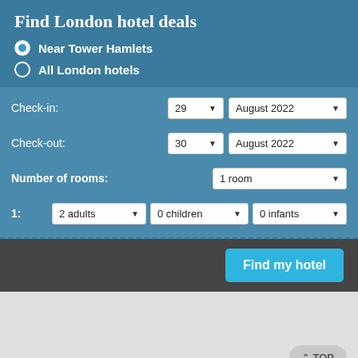Find London hotel deals
Near Tower Hamlets
All London hotels
Check-in: 29 August 2022
Check-out: 30 August 2022
Number of rooms: 1 room
1: 2 adults  0 children  0 infants
Find my hotel
TOP